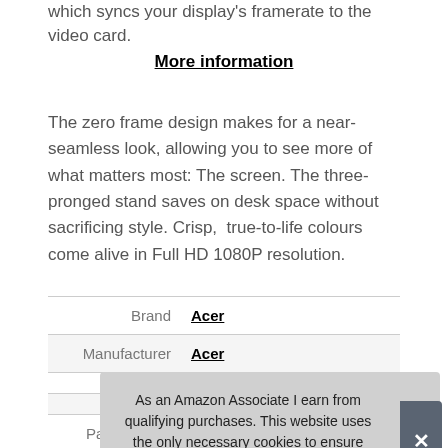which syncs your display's framerate to the video card.
More information
The zero frame design makes for a near-seamless look, allowing you to see more of what matters most: The screen. The three-pronged stand saves on desk space without sacrificing style. Crisp,  true-to-life colours come alive in Full HD 1080P resolution.
|  |  |
| --- | --- |
| Brand | Acer |
| Manufacturer | Acer |
| Part Number | UM.KX1EE.F01 |
As an Amazon Associate I earn from qualifying purchases. This website uses the only necessary cookies to ensure you get the best experience on our website. More information